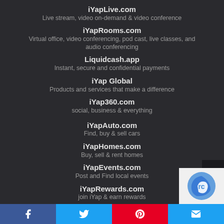iYapLive.com
Live stream, video on-demand & video conference
iYapRooms.com
Virtual office, video conferencing, pod cast, live classes, and audio conferencing
Liquidcash.app
Instant, secure and confidential payments
iYap Global
Products and services that make a difference
iYap360.com
social, business & everything
iYapAuto.com
Find, buy & sell cars
iYapHomes.com
Buy, sell & rent homes
iYapEvents.com
Post and Find local events
iYapRewards.com
join iYap & earn rewards
iBankBlack
digital banking with awesome perks
Facebook | Twitter | Pinterest | Email